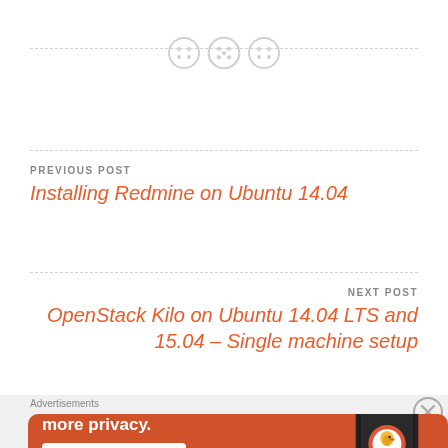[Figure (illustration): Three circular button icons arranged in a row with a dashed horizontal divider line]
PREVIOUS POST
Installing Redmine on Ubuntu 14.04
NEXT POST
OpenStack Kilo on Ubuntu 14.04 LTS and 15.04 – Single machine setup
[Figure (screenshot): DuckDuckGo advertisement banner with orange background showing 'Search, browse, and email with more privacy. All in One Free App' with a phone illustration]